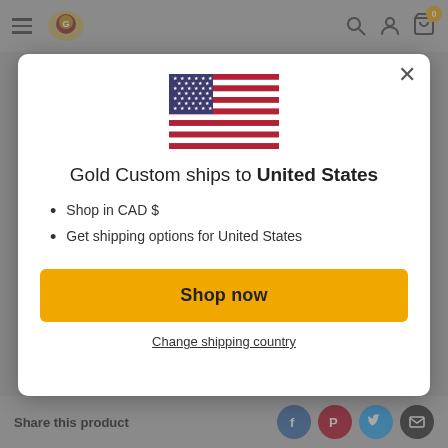[Figure (screenshot): Website navigation bar with hamburger menu, eagle logo, search icon, user icon, and cart icon with badge showing 0]
[Figure (illustration): US flag SVG illustration]
Gold Custom ships to United States
Shop in CAD $
Get shipping options for United States
Shop now
Change shipping country
Share this product